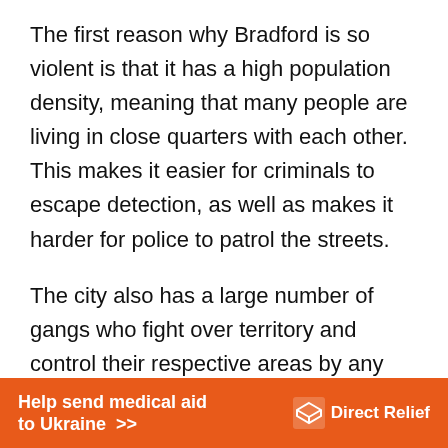The first reason why Bradford is so violent is that it has a high population density, meaning that many people are living in close quarters with each other. This makes it easier for criminals to escape detection, as well as makes it harder for police to patrol the streets.
The city also has a large number of gangs who fight over territory and control their respective areas by any means necessary. Many members of these gangs are former drug dealers or addicts themselves, who have
[Figure (other): Orange advertisement banner reading 'Help send medical aid to Ukraine >>' with Direct Relief logo and name on the right.]